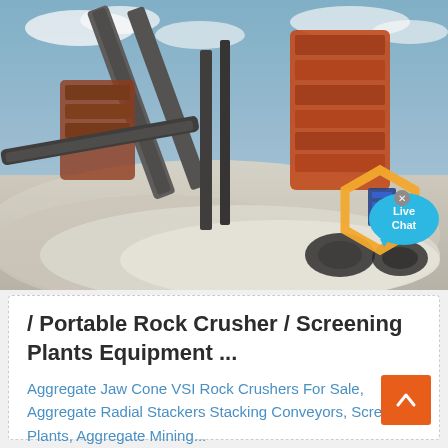[Figure (photo): Industrial aggregate mining and crushing machinery (jaw/cone crushers, conveyors, screening plants) operating outdoors against a blue sky with a large pile of crushed white stone/aggregate in the foreground. An orange hexagon logo and a blue 'Live Chat' speech bubble overlay are visible in the bottom-right of the image.]
/ Portable Rock Crusher / Screening Plants Equipment ...
Aggregate Jaw Cone VSI Rock Crushers For Sale, Aggregate Radial Stackers Stacking Conveyors, Screening Plants, Aggregate Mining...